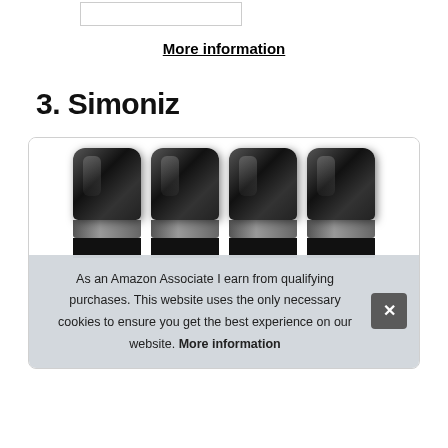|  |
More information
3. Simoniz
[Figure (photo): Four black bottle caps/containers with silver necks and black bodies arranged in a row inside a rounded-corner product card]
As an Amazon Associate I earn from qualifying purchases. This website uses the only necessary cookies to ensure you get the best experience on our website. More information